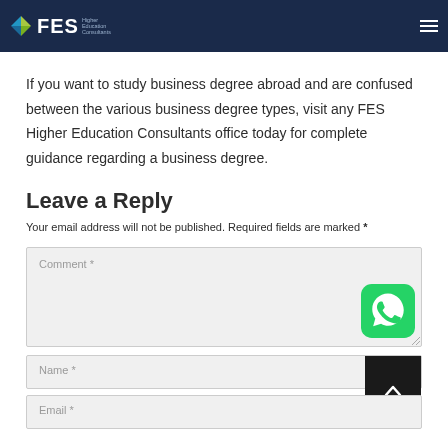FES Higher Education Consultants
If you want to study business degree abroad and are confused between the various business degree types, visit any FES Higher Education Consultants office today for complete guidance regarding a business degree.
Leave a Reply
Your email address will not be published. Required fields are marked *
[Figure (screenshot): Comment text area input field with placeholder text 'Comment *' and a WhatsApp icon in the bottom right corner]
[Figure (screenshot): Name input field with placeholder text 'Name *']
[Figure (screenshot): Email input field with placeholder text 'Email *']